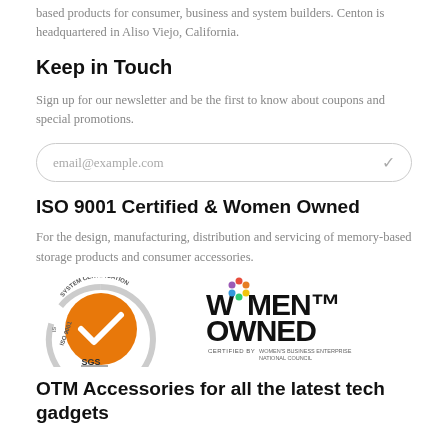based products for consumer, business and system builders. Centon is headquartered in Aliso Viejo, California.
Keep in Touch
Sign up for our newsletter and be the first to know about coupons and special promotions.
email@example.com
ISO 9001 Certified & Women Owned
For the design, manufacturing, distribution and servicing of memory-based storage products and consumer accessories.
[Figure (logo): ISO 9001 SGS system certification badge with orange circle and checkmark]
[Figure (logo): Women Owned certified by Women's Business Enterprise National Council logo]
OTM Accessories for all the latest tech gadgets